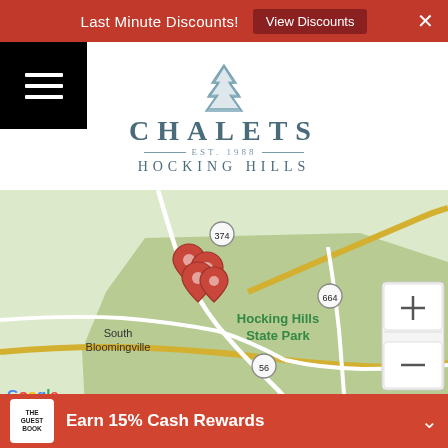Last Minute Discounts!  View Discounts  ×
[Figure (logo): Chalets Hocking Hills logo with pine tree icon, EST. 1988]
[Figure (map): Google Map showing Hocking Hills State Park area in Ohio, with location pins clustered near South Bloomingville, road 664, 56, 93, 328 visible, towns Ewing, Union Furnace, New Plymouth shown. Map data ©2022 Google.]
Earn 15% Cash Rewards